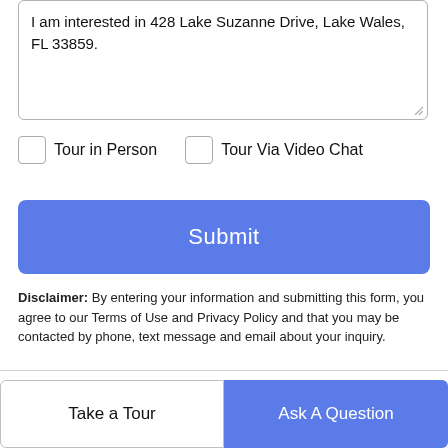I am interested in 428 Lake Suzanne Drive, Lake Wales, FL 33859.
Tour in Person
Tour Via Video Chat
Submit
Disclaimer: By entering your information and submitting this form, you agree to our Terms of Use and Privacy Policy and that you may be contacted by phone, text message and email about your inquiry.
[Figure (logo): My Florida Regional MLS / Stellar MLS logo — a teal and purple stylized plant/leaf icon]
© 2022 My Florida Regional MLS DBA Stellar MLS. All rights reserved. All listings displayed pursuant to
Take a Tour
Ask A Question